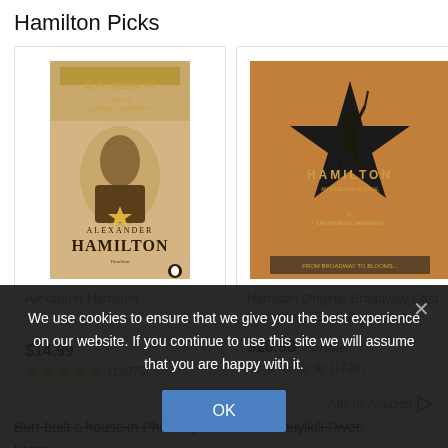Hamilton Picks
[Figure (screenshot): Product card: Alexander Hamilton book cover by Ron Chernow with portrait and star logo]
Alexander Hamilton
$14.99
★★★★★ (18976)
[Figure (screenshot): Product card: Hamilton Original Broadway Cast Recording album cover with silhouette on gold star background]
Hamilton Original Broadway Cast Recording (Explicit Version)
$28.98 ✓prime
★★★★★ (1726)
Ads by Amazon ▷
Burr built a house in Philadelphia on the Schuylkill River,
better.
– –Death– –
We use cookies to ensure that we give you the best experience on our website. If you continue to use this site we will assume that you are happy with it.
OK